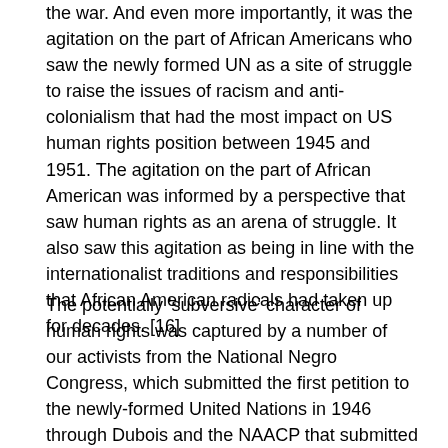the war. And even more importantly, it was the agitation on the part of African Americans who saw the newly formed UN as a site of struggle to raise the issues of racism and anti-colonialism that had the most impact on US human rights position between 1945 and 1951. The agitation on the part of African American was informed by a perspective that saw human rights as an arena of struggle. It also saw this agitation as being in line with the internationalist traditions and responsibilities that African American radicals had taken up for decades. [16]
The potentially 'subversive' character of human rights was captured by a number of our activists from the National Negro Congress, which submitted the first petition to the newly-formed United Nations in 1946 through Dubois and the NAACP that submitted a petition in 1947 and the Civil Rights Congress petition 'We Charge Genocide' in 1951. All of these efforts generated dramatic responses from the US and created tremendous problems for US policymakers, who wanted to advance US interests through the UN and did not need controversy being created with the suggestion that the UN might be used to address the US on their rights to put some thing